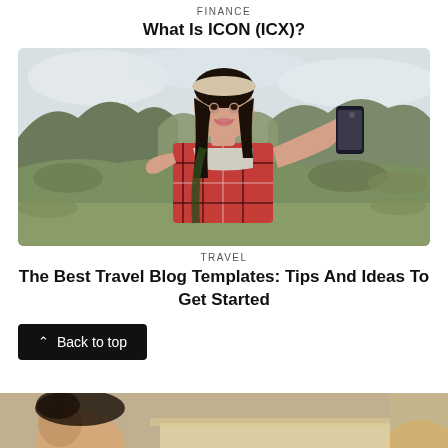FINANCE
What Is ICON (ICX)?
[Figure (photo): Young Asian woman with bucket hat taking a selfie with smartphone, standing outdoors with rocky mountain landscape in background]
TRAVEL
The Best Travel Blog Templates: Tips And Ideas To Get Started
Back to top
[Figure (photo): Partially visible photo at bottom of page showing people]